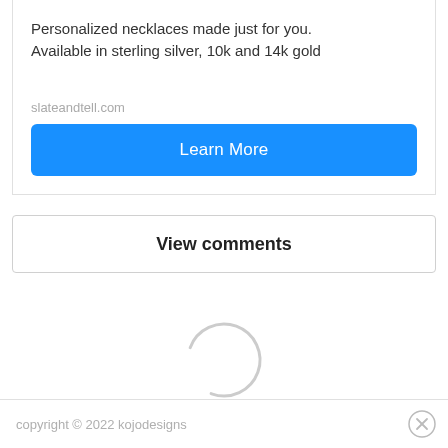Personalized necklaces made just for you. Available in sterling silver, 10k and 14k gold
slateandtell.com
Learn More
View comments
[Figure (other): Loading spinner - a partial circle arc in light gray indicating content is loading]
copyright © 2022 kojodesigns